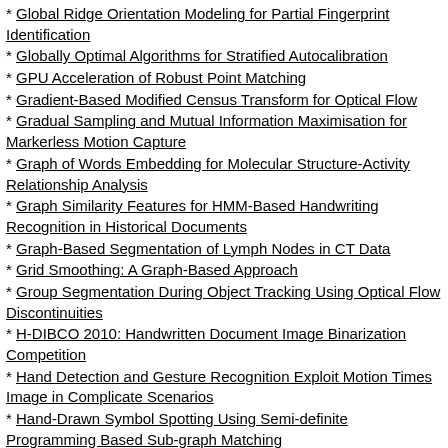* Global Ridge Orientation Modeling for Partial Fingerprint Identification
* Globally Optimal Algorithms for Stratified Autocalibration
* GPU Acceleration of Robust Point Matching
* Gradient-Based Modified Census Transform for Optical Flow
* Gradual Sampling and Mutual Information Maximisation for Markerless Motion Capture
* Graph of Words Embedding for Molecular Structure-Activity Relationship Analysis
* Graph Similarity Features for HMM-Based Handwriting Recognition in Historical Documents
* Graph-Based Segmentation of Lymph Nodes in CT Data
* Grid Smoothing: A Graph-Based Approach
* Group Segmentation During Object Tracking Using Optical Flow Discontinuities
* H-DIBCO 2010: Handwritten Document Image Binarization Competition
* Hand Detection and Gesture Recognition Exploit Motion Times Image in Complicate Scenarios
* Hand-Drawn Symbol Spotting Using Semi-definite Programming Based Sub-graph Matching
* Handwriting Reconstruction for a Camera Pen Using Random Dot Patterns
* Handwritten Mail Classification Experiments with the Rimes D...